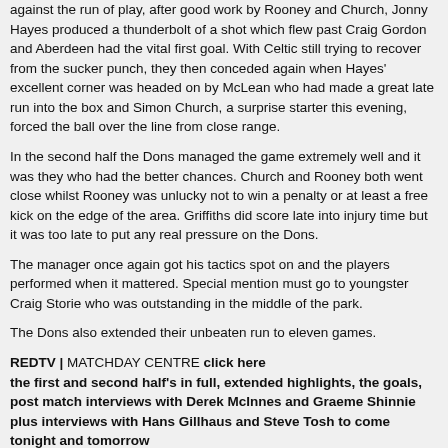against the run of play, after good work by Rooney and Church, Jonny Hayes produced a thunderbolt of a shot which flew past Craig Gordon and Aberdeen had the vital first goal. With Celtic still trying to recover from the sucker punch, they then conceded again when Hayes' excellent corner was headed on by McLean who had made a great late run into the box and Simon Church, a surprise starter this evening, forced the ball over the line from close range.
In the second half the Dons managed the game extremely well and it was they who had the better chances. Church and Rooney both went close whilst Rooney was unlucky not to win a penalty or at least a free kick on the edge of the area. Griffiths did score late into injury time but it was too late to put any real pressure on the Dons.
The manager once again got his tactics spot on and the players performed when it mattered. Special mention must go to youngster Craig Storie who was outstanding in the middle of the park.
The Dons also extended their unbeaten run to eleven games.
REDTV | MATCHDAY CENTRE click here
the first and second half's in full, extended highlights, the goals, post match interviews with Derek McInnes and Graeme Shinnie plus interviews with Hans Gillhaus and Steve Tosh to come tonight and tomorrow
GALLERY | first goal please click here
GALLERY | second goal please click here
(photos SNSPix, Angela Isac, Scott Baxter)
match report